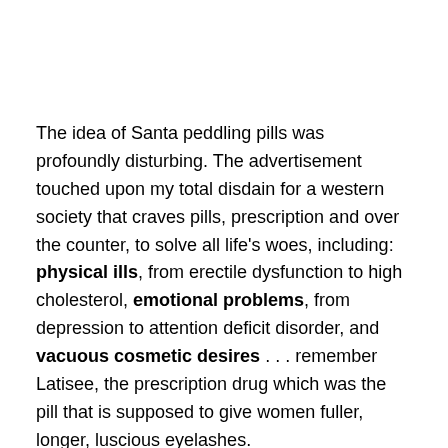The idea of Santa peddling pills was profoundly disturbing. The advertisement touched upon my total disdain for a western society that craves pills, prescription and over the counter, to solve all life's woes, including: physical ills, from erectile dysfunction to high cholesterol, emotional problems, from depression to attention deficit disorder, and vacuous cosmetic desires . . . remember Latisee, the prescription drug which was the pill that is supposed to give women fuller, longer, luscious eyelashes.
My disgust in the advertisement was somewhat mitigated by the caption: ". . .  With less pills"; however, this